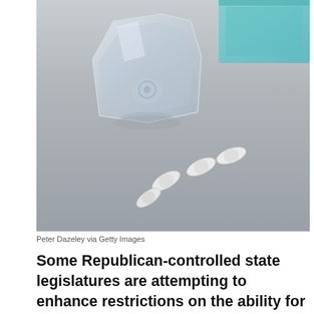[Figure (photo): A glass of water and small white pills scattered on a metallic surface, with a teal/turquoise box in the background.]
Peter Dazeley via Getty Images
Some Republican-controlled state legislatures are attempting to enhance restrictions on the ability for people to obtain abortion pills through the mail.
The move comes after a year of patients choosing to see a doctor from a computer screen in their home rather than going to a